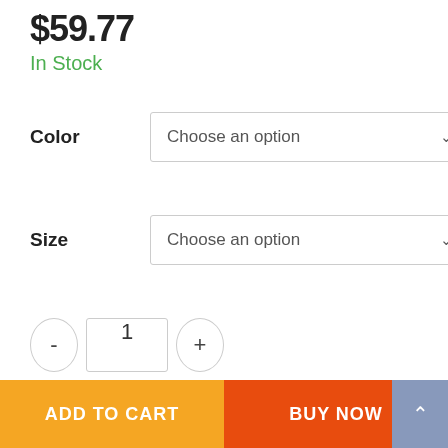$59.77
In Stock
Color
Choose an option
Size
Choose an option
1
— OR —
ADD TO CART
BUY NOW